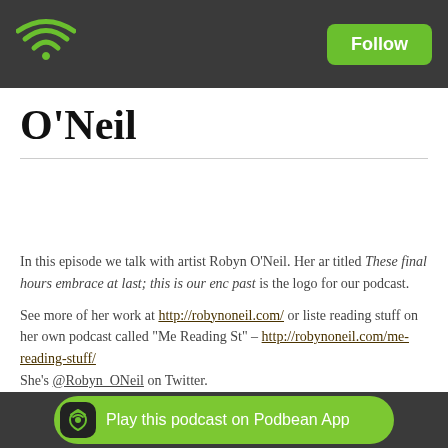Follow
O’Neil
In this episode we talk with artist Robyn O'Neil. Her art titled These final hours embrace at last; this is our end past is the logo for our podcast.
See more of her work at http://robynoneil.com/ or listen reading stuff on her own podcast called "Me Reading Stuff" - http://robynoneil.com/me-reading-stuff/
She’s @Robyn_ONeil on Twitter.
Our podcast is @ConcavityShow on Twitter.
Show Notes
Play this podcast on Podbean App